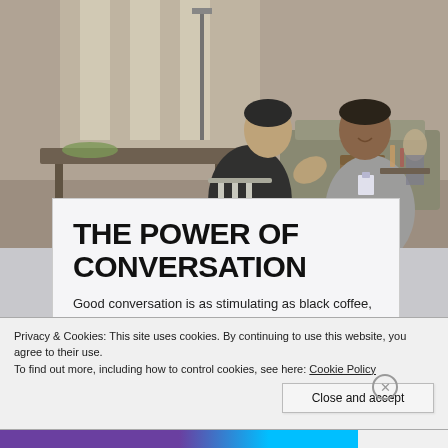[Figure (photo): Two men sitting across from each other at a table in a lounge/cafe setting, engaged in conversation. One man wears a black jacket, the other wears a grey blazer. The background shows a modern interior space with furniture and windows.]
THE POWER OF CONVERSATION
Good conversation is as stimulating as black coffee, and
Privacy & Cookies: This site uses cookies. By continuing to use this website, you agree to their use.
To find out more, including how to control cookies, see here: Cookie Policy
Close and accept